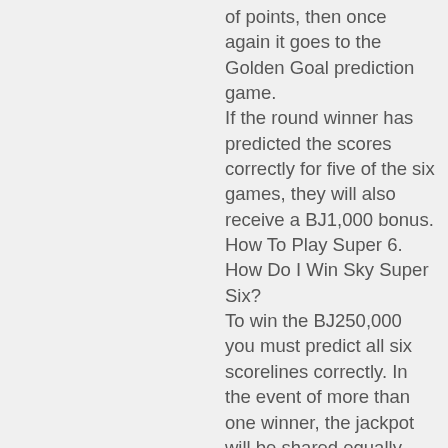of points, then once again it goes to the Golden Goal prediction game. If the round winner has predicted the scores correctly for five of the six games, they will also receive a BJ1,000 bonus. How To Play Super 6. How Do I Win Sky Super Six? To win the BJ250,000 you must predict all six scorelines correctly. In the event of more than one winner, the jackpot will be shared equally. Every week thereвЂ™s also a BJ5,000 consolation prize in. To win this, you donвЂ™t necessarily have to guess all results correctly. This works on a points system. So for every correct scoreline you will earn five points and predicting a winner will give you two points. If thereвЂ™s a tie, this is where the Golden Goal kicks in. The closest person to the correct time of the first goal will then win. Sign up to Paddy Power & the first time you